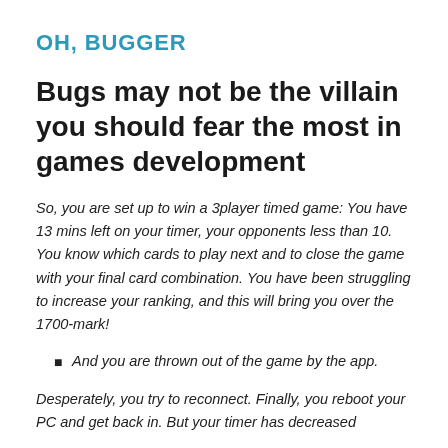OH, BUGGER
Bugs may not be the villain you should fear the most in games development
So, you are set up to win a 3player timed game: You have 13 mins left on your timer, your opponents less than 10. You know which cards to play next and to close the game with your final card combination. You have been struggling to increase your ranking, and this will bring you over the 1700-mark!
And you are thrown out of the game by the app.
Desperately, you try to reconnect. Finally, you reboot your PC and get back in. But your timer has decreased